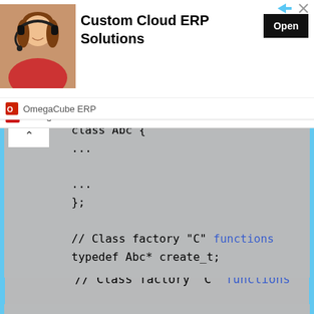[Figure (screenshot): Advertisement banner for Custom Cloud ERP Solutions by OmegaCube ERP, showing a woman with headset, bold title text, and an Open button.]
[Figure (screenshot): Code block on grey background showing C++ class Abc definition with class factory C functions: typedef Abc* create_t; typedef void destroy_t(Abc*);]
The class ".cpp" file:
[Figure (screenshot): Bottom grey code snippet area, partially visible.]